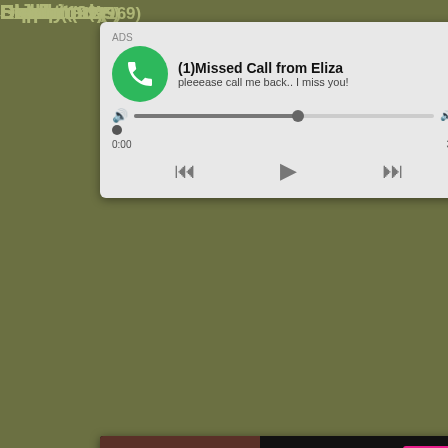Dream (29)
Slave (191)
Dress
Drilled
Drink
Dutch
Ebony
Emo
Erotic
Escort
Europ
Exhib
Exotic
Expe
Exploited (9)
Squirt (313)
Extreme (95)
Stepmom (169)
Eyes (17)
Stockings (401)
Face (176)
Story (97)
Facial (586)
Straight (10)
[Figure (screenshot): Audio ad popup: ADS label, (1)Missed Call from Eliza, pleeease call me back.. I miss you!, audio player with progress bar, time 0:00 to 3:23, playback controls]
[Figure (screenshot): Video ad popup: WHAT DO YOU WANT? with WATCH button, Online indicator, thumbnail images, text 'Cumming, ass fucking, squirt or...', ADS label, close X]